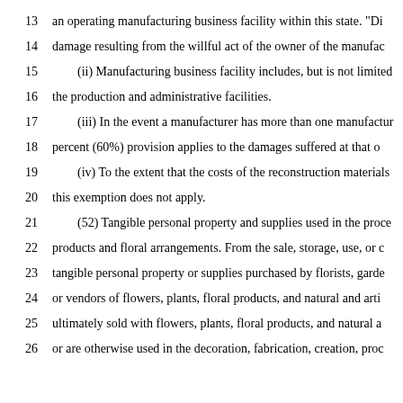13   an operating manufacturing business facility within this state. "Di
14   damage resulting from the willful act of the owner of the manufac
15       (ii) Manufacturing business facility includes, but is not limited
16   the production and administrative facilities.
17       (iii) In the event a manufacturer has more than one manufactur
18   percent (60%) provision applies to the damages suffered at that o
19       (iv) To the extent that the costs of the reconstruction materials
20   this exemption does not apply.
21       (52) Tangible personal property and supplies used in the proce
22   products and floral arrangements. From the sale, storage, use, or c
23   tangible personal property or supplies purchased by florists, garde
24   or vendors of flowers, plants, floral products, and natural and arti
25   ultimately sold with flowers, plants, floral products, and natural a
26   or are otherwise used in the decoration, fabrication, creation, proc